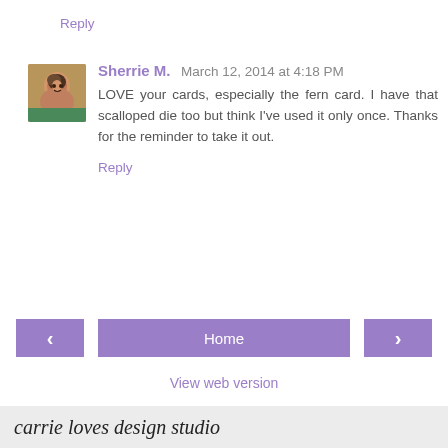Reply
Sherrie M.  March 12, 2014 at 4:18 PM
LOVE your cards, especially the fern card. I have that scalloped die too but think I've used it only once. Thanks for the reminder to take it out.
Reply
Home
View web version
carrie loves design studio